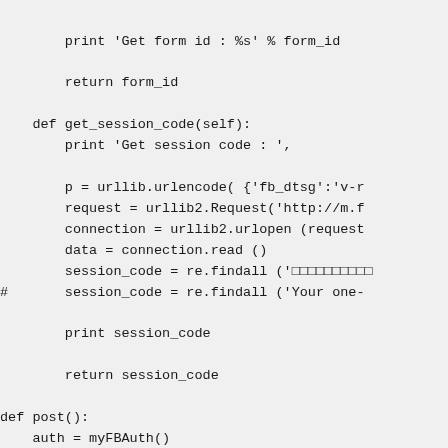print 'Get form id : %s' % form_id

        return form_id

    def get_session_code(self):
        print 'Get session code : ',

        p = urllib.urlencode( {'fb_dtsg':'v-r...
        request = urllib2.Request('http://m.f...
        connection = urllib2.urlopen (request...
        data = connection.read ()
        session_code = re.findall ('□□□□□□□□□□...
#       session_code = re.findall ('Your one-...

        print session_code

        return session_code

def post():
    auth = myFBAuth()
    session_code = auth.get_session_code()